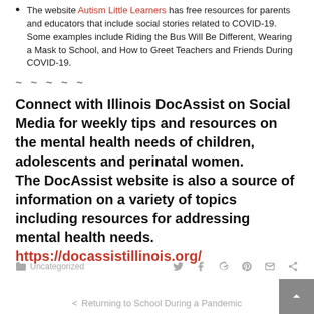The website Autism Little Learners has free resources for parents and educators that include social stories related to COVID-19. Some examples include Riding the Bus Will Be Different, Wearing a Mask to School, and How to Greet Teachers and Friends During COVID-19.
~ ~ ~ ~ ~
Connect with Illinois DocAssist on Social Media for weekly tips and resources on the mental health needs of children, adolescents and perinatal women. The DocAssist website is also a source of information on a variety of topics including resources for addressing mental health needs. https://docassistillinois.org/
Uncategorized | social share icons | < Returning to School During a Pandemic